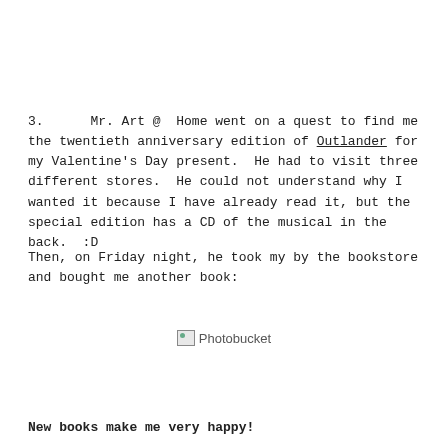3.     Mr. Art @  Home went on a quest to find me the twentieth anniversary edition of Outlander for my Valentine's Day present.  He had to visit three different stores.  He could not understand why I wanted it because I have already read it, but the special edition has a CD of the musical in the back.  :D
Then, on Friday night, he took my by the bookstore and bought me another book:
[Figure (photo): Broken image placeholder labeled 'Photobucket']
New books make me very happy!